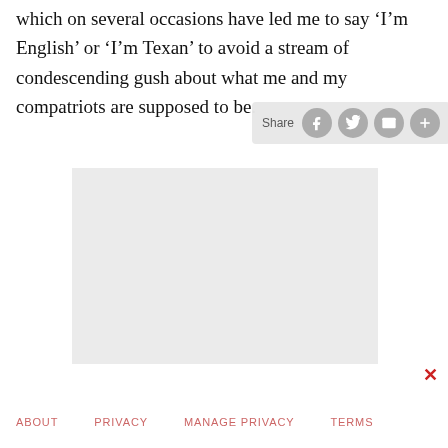which on several occasions have led me to say ‘I’m English’ or ‘I’m Texan’ to avoid a stream of condescending gush about what me and my compatriots are supposed to be.
[Figure (screenshot): Share toolbar with Facebook, Twitter, email, and plus icons on a light grey background]
[Figure (other): Light grey advertisement placeholder block]
ABOUT   PRIVACY   MANAGE PRIVACY   TERMS